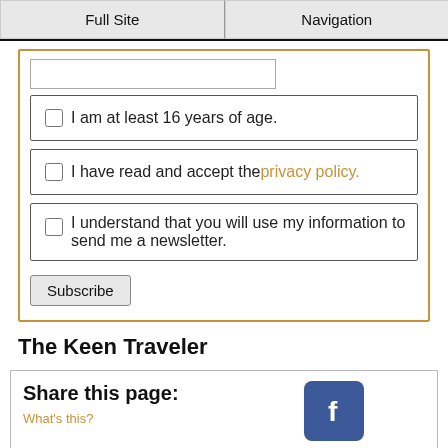Full Site | Navigation
I am at least 16 years of age.
I have read and accept the privacy policy.
I understand that you will use my information to send me a newsletter.
Subscribe
The Keen Traveler
Share this page: What's this?
[Figure (logo): Facebook logo icon (blue square with white f) and Facebook label in blue text]
[Figure (logo): Twitter logo icon (cyan square with white bird)]